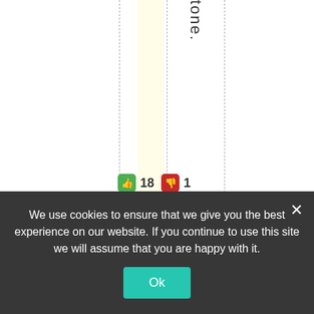tone.
18  1
#1.1.1
[Figure (illustration): Avatar/emoji face: yellow smiley with glasses on dark blue background]
Ted
O'Bri
We use cookies to ensure that we give you the best experience on our website. If you continue to use this site we will assume that you are happy with it.